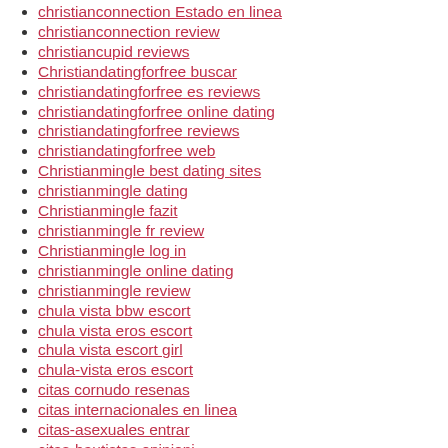christianconnection Estado en linea
christianconnection review
christiancupid reviews
Christiandatingforfree buscar
christiandatingforfree es reviews
christiandatingforfree online dating
christiandatingforfree reviews
christiandatingforfree web
Christianmingle best dating sites
christianmingle dating
Christianmingle fazit
christianmingle fr review
Christianmingle log in
christianmingle online dating
christianmingle review
chula vista bbw escort
chula vista eros escort
chula vista escort girl
chula-vista eros escort
citas cornudo resenas
citas internacionales en linea
citas-asexuales entrar
citas-bautistas opinioni
citas-budistas cos
citas-con-perros entrar